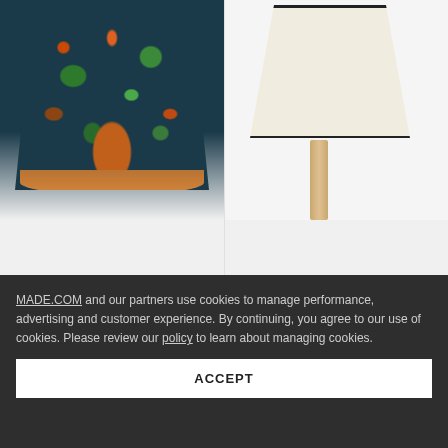[Figure (photo): Calisto jungle print lamp shade with copper interior, viewed from below at angle, showing leopard and tropical foliage pattern on dark teal background]
[Figure (photo): Larue tapered lamp shade in off-white with black trim edge, mounted on a light wood tripod stand]
Calisto
Lamp Shade, 45 cm, Multi Leopard Jungle Print & Copper
£ 38
Larue
Tapered Shade, 25 cm, Off-White & Charcoal
£ 15  £ 18
MADE.COM and our partners use cookies to manage performance, advertising and customer experience. By continuing, you agree to our use of cookies. Please review our policy to learn about managing cookies.
ACCEPT